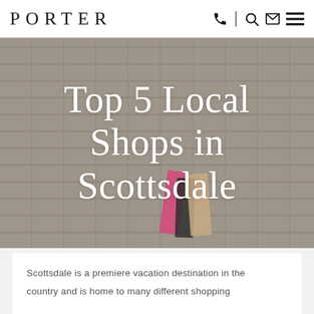PORTER
[Figure (photo): A woman holding multiple shopping bags in front of a white brick wall, with overlaid large white serif text reading 'Top 5 Local Shops in Scottsdale']
Top 5 Local Shops in Scottsdale
Scottsdale is a premiere vacation destination in the country and is home to many different shopping